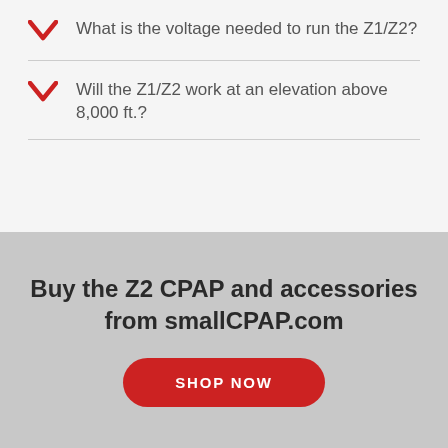What is the voltage needed to run the Z1/Z2?
Will the Z1/Z2 work at an elevation above 8,000 ft.?
Buy the Z2 CPAP and accessories from smallCPAP.com
SHOP NOW